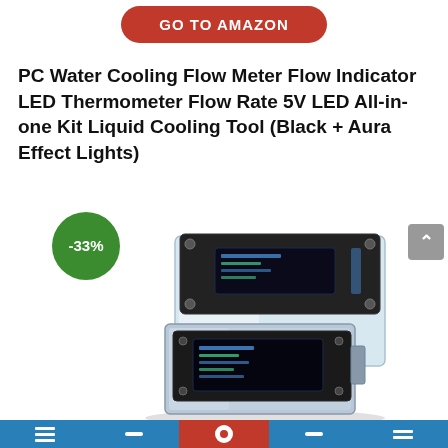[Figure (other): Red rounded button labeled GO TO AMAZON]
PC Water Cooling Flow Meter Flow Indicator LED Thermometer Flow Rate 5V LED All-in-one Kit Liquid Cooling Tool (Black + Aura Effect Lights)
[Figure (photo): Product photo of a PC water cooling flow meter device with LED display, shown at an angle. A green discount badge shows -33%.]
Navigation bar with blue and red segments